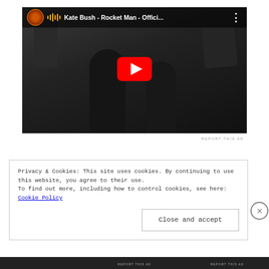[Figure (screenshot): YouTube video embed thumbnail showing Kate Bush - Rocket Man - Offici... with a black and white image of a woman playing guitar, red YouTube play button in center, video title bar at top]
REPORT THIS AD
Privacy & Cookies: This site uses cookies. By continuing to use this website, you agree to their use.
To find out more, including how to control cookies, see here: Cookie Policy
Close and accept